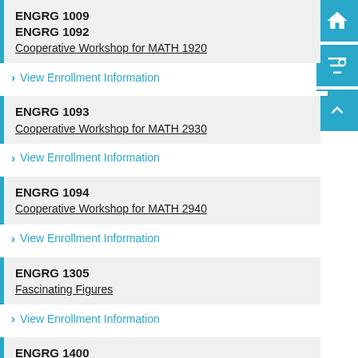ENGRG 1009
ENGRG 1092
Cooperative Workshop for MATH 1920
View Enrollment Information
ENGRG 1093
Cooperative Workshop for MATH 2930
View Enrollment Information
ENGRG 1094
Cooperative Workshop for MATH 2940
View Enrollment Information
ENGRG 1305
Fascinating Figures
View Enrollment Information
ENGRG 1400